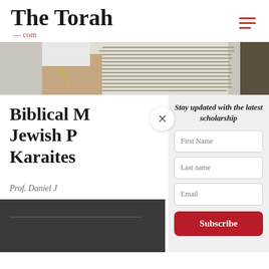The Torah .com
[Figure (photo): Close-up photo of hands using a yad (Torah pointer) to read from a Torah scroll with Hebrew text]
Biblical ... Jewish P... Karaites
Prof. Daniel J...
Stay updated with the latest scholarship
First Name
Last name
Email
Subscribe